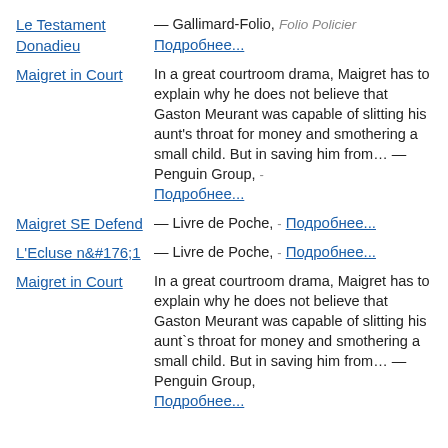Le Testament Donadieu — Gallimard-Folio, Folio Policier Подробнее...
Maigret in Court — In a great courtroom drama, Maigret has to explain why he does not believe that Gaston Meurant was capable of slitting his aunt's throat for money and smothering a small child. But in saving him from… — Penguin Group, - Подробнее...
Maigret SE Defend — Livre de Poche, - Подробнее...
L'Ecluse n&#176;1 — Livre de Poche, - Подробнее...
Maigret in Court — In a great courtroom drama, Maigret has to explain why he does not believe that Gaston Meurant was capable of slitting his aunt`s throat for money and smothering a small child. But in saving him from… — Penguin Group, Подробнее...